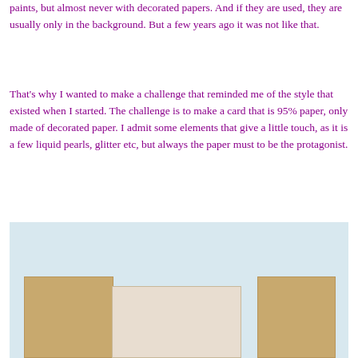paints, but almost never with decorated papers. And if they are used, they are usually only in the background. But a few years ago it was not like that.
That's why I wanted to make a challenge that reminded me of the style that existed when I started. The challenge is to make a card that is 95% paper, only made of decorated paper. I admit some elements that give a little touch, as it is a few liquid pearls, glitter etc, but always the paper must to be the protagonist.
[Figure (photo): Photo of craft cardboard pieces arranged on a light blue background. Three rectangular pieces visible: two brown kraft cardboard pieces on the left and right sides, and one lighter beige/cream colored piece in the center.]